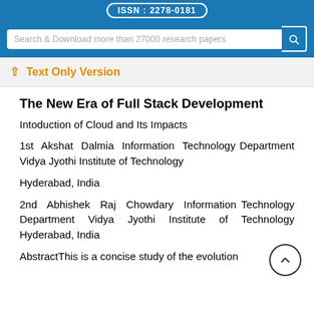ISSN : 2278-0181
Search & Download more than 27000 research papers
Text Only Version
The New Era of Full Stack Development
Intoduction of Cloud and Its Impacts
1st Akshat Dalmia Information Technology Department Vidya Jyothi Institute of Technology
Hyderabad, India
2nd Abhishek Raj Chowdary Information Technology Department Vidya Jyothi Institute of Technology Hyderabad, India
AbstractThis is a concise study of the evolution